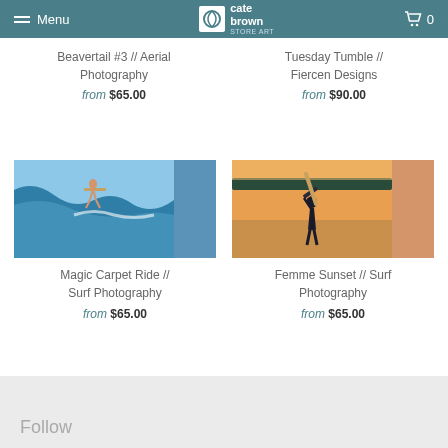Menu | Cate Brown Store Art | Cart 0
Beavertail #3 // Aerial Photography
from $65.00
Tuesday Tumble // Fiercen Designs
from $90.00
[Figure (photo): Surfer riding a large wave on a surfboard, aerial/water-level surf photography with blue wave in background]
Magic Carpet Ride // Surf Photography
from $65.00
[Figure (photo): Woman standing in water at sunset holding a surfboard overhead, warm golden light over calm water with trees in background]
Femme Sunset // Surf Photography
from $65.00
Follow